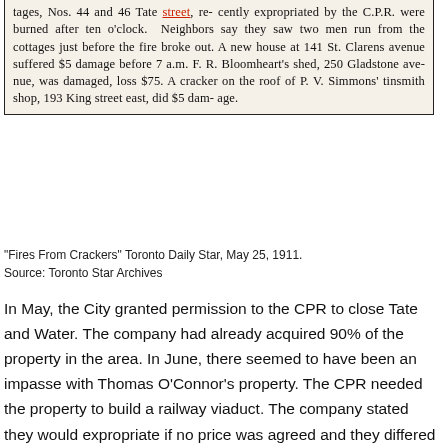[Figure (photo): Newspaper clipping from Toronto Daily Star, May 25, 1911, about fires from crackers. Text describes fires at Nos. 44 and 46 Tate Street recently expropriated by the C.P.R., a new house at 141 St. Clarens Avenue, Bloomheart's shed at 250 Gladstone Avenue, and a cracker on the roof of P. V. Simmons' tinsmith shop at 193 King Street east.]
"Fires From Crackers" Toronto Daily Star, May 25, 1911.
Source: Toronto Star Archives
In May, the City granted permission to the CPR to close Tate and Water. The company had already acquired 90% of the property in the area. In June, there seemed to have been an impasse with Thomas O'Connor's property. The CPR needed the property to build a railway viaduct. The company stated they would expropriate if no price was agreed and they differed on price. Loucks and Valpy wrote William O'Connor was a champion oarsman whose family moved to Tate Street in the 1860s; it is unclear if Thomas